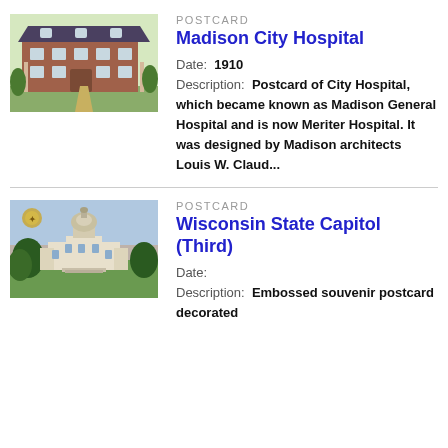[Figure (photo): Vintage postcard photo of Madison City Hospital, a large brick building with mansard roof and front lawn]
POSTCARD
Madison City Hospital
Date: 1910
Description: Postcard of City Hospital, which became known as Madison General Hospital and is now Meriter Hospital. It was designed by Madison architects Louis W. Claud...
[Figure (photo): Vintage postcard photo of Wisconsin State Capitol (Third), showing the domed capitol building surrounded by trees]
POSTCARD
Wisconsin State Capitol (Third)
Date:
Description: Embossed souvenir postcard decorated